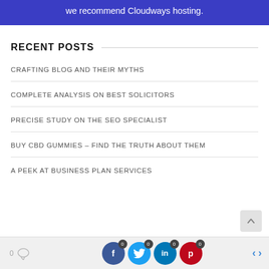[Figure (screenshot): Blue banner with white text recommending Cloudways hosting]
RECENT POSTS
CRAFTING BLOG AND THEIR MYTHS
COMPLETE ANALYSIS ON BEST SOLICITORS
PRECISE STUDY ON THE SEO SPECIALIST
BUY CBD GUMMIES – FIND THE TRUTH ABOUT THEM
A PEEK AT BUSINESS PLAN SERVICES
0 | Facebook 0 | Twitter 0 | LinkedIn 0 | Pinterest | < >